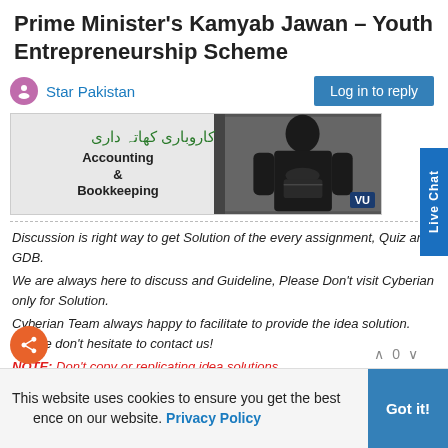Prime Minister's Kamyab Jawan – Youth Entrepreneurship Scheme
Star Pakistan
[Figure (screenshot): Banner image showing Accounting & Bookkeeping / کاروباری کھاتہ داری with a person in dark clothing and VU logo badge]
Discussion is right way to get Solution of the every assignment, Quiz and GDB.
We are always here to discuss and Guideline, Please Don't visit Cyberian only for Solution.
Cyberian Team always happy to facilitate to provide the idea solution. Please don't hesitate to contact us!
NOTE: Don't copy or replicating idea solutions.
Quiz Copy Solution
Mid and Final Past Papers
Live Chat
This website uses cookies to ensure you get the best experience on our website. Privacy Policy